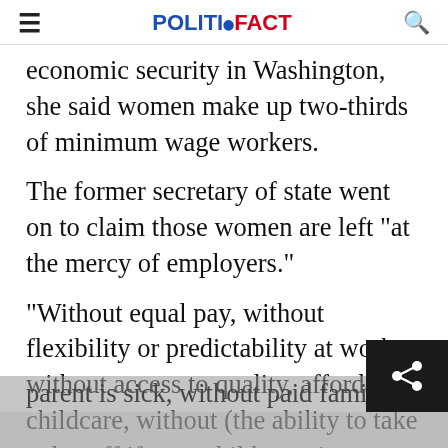POLITIFACT
economic security in Washington, she said women make up two-thirds of minimum wage workers.
The former secretary of state went on to claim those women are left "at the mercy of employers."
"Without equal pay, without flexibility or predictability at work, without access to quality, affordable childcare, without (the ability to take a day off if your child or aging parent is sick, without paid family or medical...